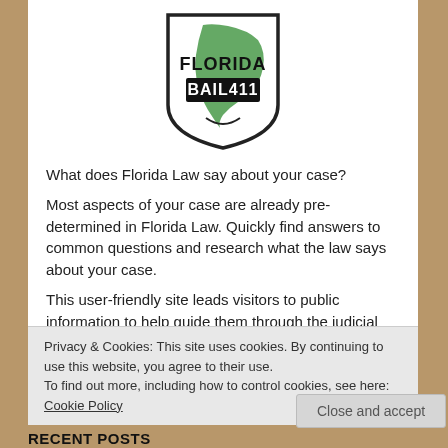[Figure (logo): Florida Bail411 shield logo with state of Florida silhouette in green]
What does Florida Law say about your case?
Most aspects of your case are already pre-determined in Florida Law. Quickly find answers to common questions and research what the law says about your case.
This user-friendly site leads visitors to public information to help guide them through the judicial practices in Florida.
Search our site by keywords.
Privacy & Cookies: This site uses cookies. By continuing to use this website, you agree to their use.
To find out more, including how to control cookies, see here: Cookie Policy
Close and accept
RECENT POSTS